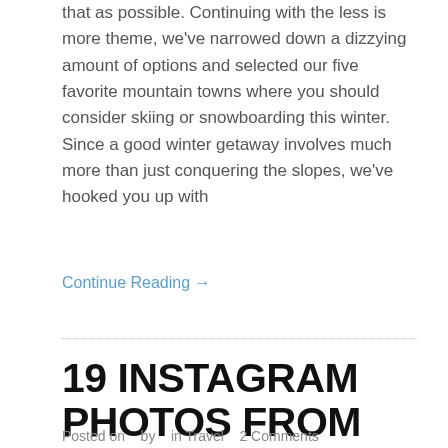that as possible. Continuing with the less is more theme, we've narrowed down a dizzying amount of options and selected our five favorite mountain towns where you should consider skiing or snowboarding this winter. Since a good winter getaway involves much more than just conquering the slopes, we've hooked you up with
Continue Reading →
19 INSTAGRAM PHOTOS FROM GOLDEN, BRITISH COLUMBIA
Posted on   by   in Travel   2 Comments